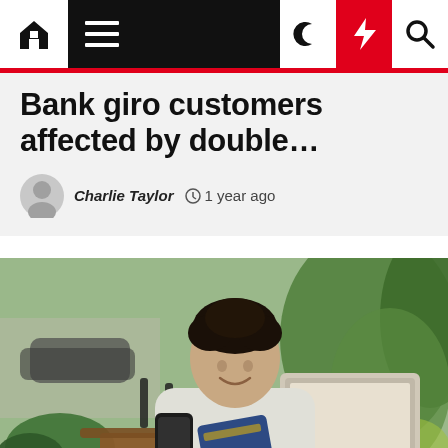Navigation bar with home, menu, dark mode, lightning/breaking news, and search icons
Bank giro customers affected by double…
Charlie Taylor  🕐 1 year ago
[Figure (photo): Young man with curly dark hair sitting outdoors at a café table, smiling at his smartphone while holding a credit/debit card, with a laptop open in front of him, green plants and a blurred street in the background.]